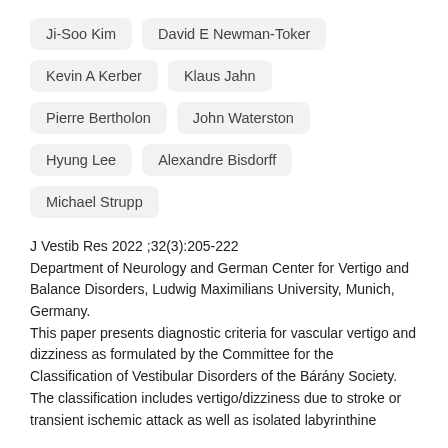Ji-Soo Kim
David E Newman-Toker
Kevin A Kerber
Klaus Jahn
Pierre Bertholon
John Waterston
Hyung Lee
Alexandre Bisdorff
Michael Strupp
J Vestib Res 2022 ;32(3):205-222
Department of Neurology and German Center for Vertigo and Balance Disorders, Ludwig Maximilians University, Munich, Germany.
This paper presents diagnostic criteria for vascular vertigo and dizziness as formulated by the Committee for the Classification of Vestibular Disorders of the Bárány Society. The classification includes vertigo/dizziness due to stroke or transient ischemic attack as well as isolated labyrinthine